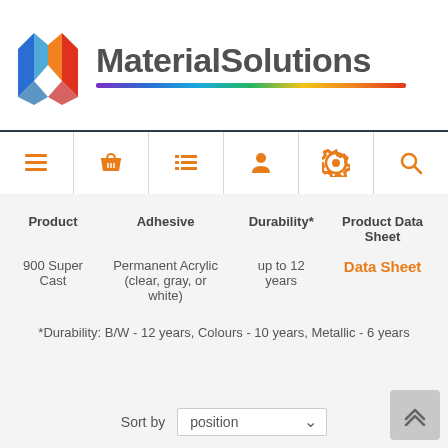[Figure (logo): MaterialSolutions company logo with colorful geometric M icon and rainbow underline]
[Figure (infographic): Navigation icon bar with 6 orange icons: menu, basket, list, person, settings, search]
| Product | Adhesive | Durability* | Product Data Sheet |
| --- | --- | --- | --- |
| 900 Super Cast | Permanent Acrylic (clear, gray, or white) | up to 12 years | Data Sheet |
*Durability: B/W - 12 years, Colours - 10 years, Metallic - 6 years